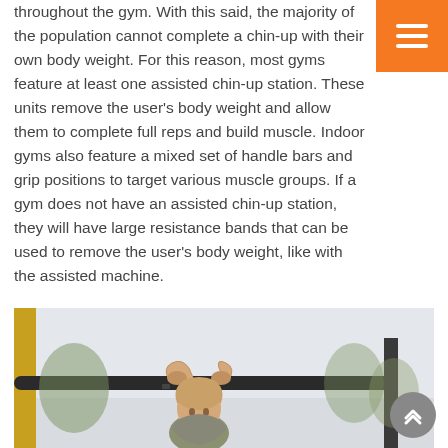throughout the gym. With this said, the majority of the population cannot complete a chin-up with their own body weight. For this reason, most gyms feature at least one assisted chin-up station. These units remove the user's body weight and allow them to complete full reps and build muscle. Indoor gyms also feature a mixed set of handle bars and grip positions to target various muscle groups. If a gym does not have an assisted chin-up station, they will have large resistance bands that can be used to remove the user's body weight, like with the assisted machine.
[Figure (photo): Woman performing a chin-up or pull-up on an outdoor bar, viewed from below, wearing a gray top, with outdoor background of trees and sky.]